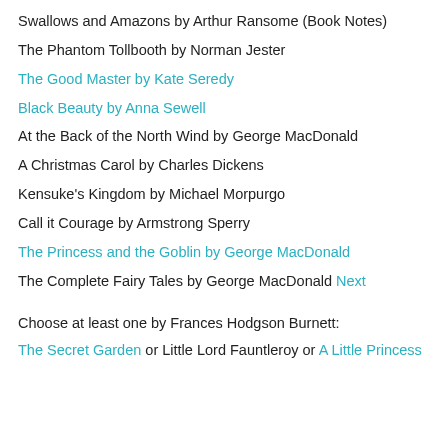Swallows and Amazons by Arthur Ransome (Book Notes)
The Phantom Tollbooth by Norman Jester
The Good Master by Kate Seredy
Black Beauty by Anna Sewell
At the Back of the North Wind by George MacDonald
A Christmas Carol by Charles Dickens
Kensuke's Kingdom by Michael Morpurgo
Call it Courage by Armstrong Sperry
The Princess and the Goblin by George MacDonald
The Complete Fairy Tales by George MacDonald Next
Choose at least one by Frances Hodgson Burnett:
The Secret Garden or Little Lord Fauntleroy or A Little Princess